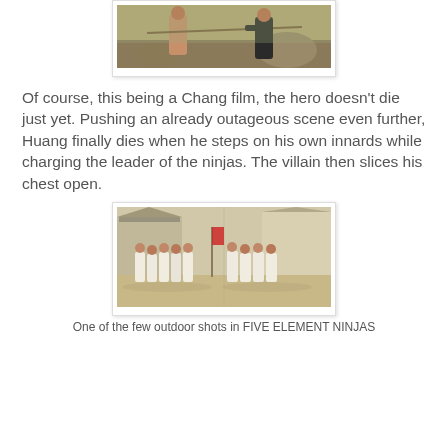[Figure (photo): Two fighters in a martial arts combat scene outdoors, one shirtless with a spear, the other in dark clothing, with rocky terrain in the background.]
Of course, this being a Chang film, the hero doesn't die just yet. Pushing an already outageous scene even further, Huang finally dies when he steps on his own innards while charging the leader of the ninjas. The villain then slices his chest open.
[Figure (photo): Group of people dressed in white clothing walking outdoors in front of traditional Chinese architecture buildings under bright sunlight.]
One of the few outdoor shots in FIVE ELEMENT NINJAS